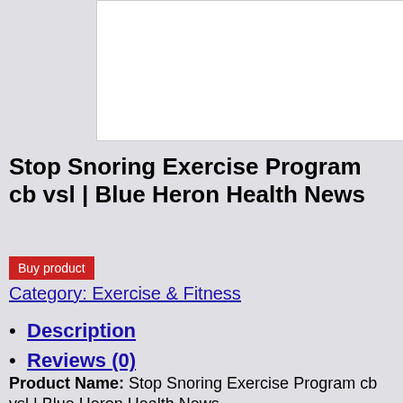[Figure (other): White rectangular image placeholder area]
Stop Snoring Exercise Program cb vsl | Blue Heron Health News
Buy product
Category: Exercise & Fitness
Description
Reviews (0)
Product Name: Stop Snoring Exercise Program cb vsl | Blue Heron Health News